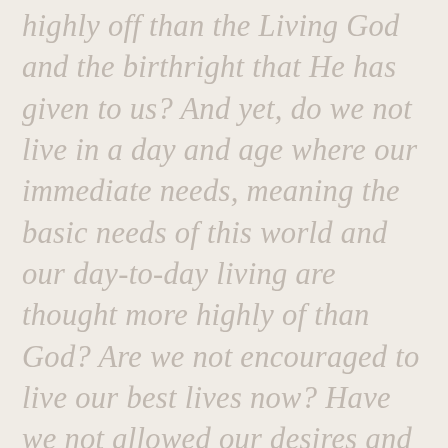highly off than the Living God and the birthright that He has given to us? And yet, do we not live in a day and age where our immediate needs, meaning the basic needs of this world and our day-to-day living are thought more highly of than God? Are we not encouraged to live our best lives now? Have we not allowed our desires and hungers to be elevated above our love and desire for God? And are we not blind to it, so terribly blind to it? If David needed a prophet to reveal his wickedness, and this a man after God's own heart, beloved of God, are we so